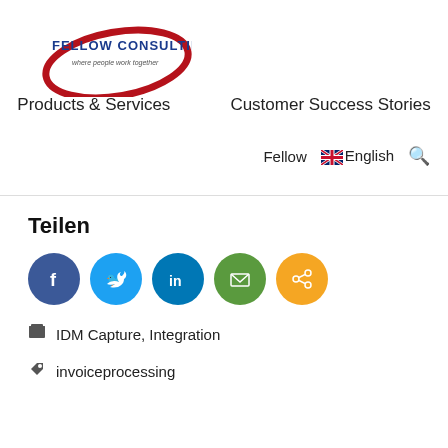[Figure (logo): Fellow Consulting AG logo with red oval shape and tagline 'where people work together']
Products & Services   Customer Success Stories   Fellow   English
Teilen
[Figure (infographic): Social sharing icons: Facebook (blue), Twitter (light blue), LinkedIn (dark blue), Email (green), Share (orange)]
IDM Capture, Integration
invoiceprocessing